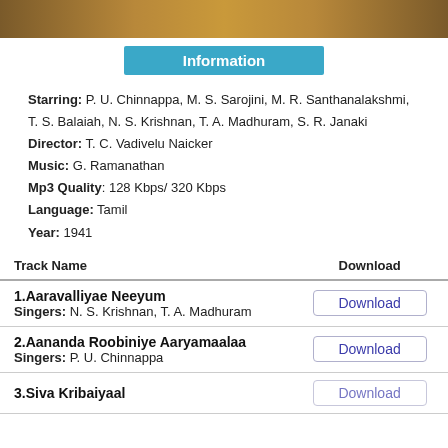[Figure (photo): Banner image with brownish/sepia tone, appears to be a movie poster or title banner]
Information
Starring: P. U. Chinnappa, M. S. Sarojini, M. R. Santhanalakshmi, T. S. Balaiah, N. S. Krishnan, T. A. Madhuram, S. R. Janaki
Director: T. C. Vadivelu Naicker
Music: G. Ramanathan
Mp3 Quality: 128 Kbps/ 320 Kbps
Language: Tamil
Year: 1941
| Track Name | Download |
| --- | --- |
| 1. Aaravalliyae Neeyum
Singers: N. S. Krishnan, T. A. Madhuram | Download |
| 2. Aananda Roobiniye Aaryamaalaa
Singers: P. U. Chinnappa | Download |
| 3. Siva Kribaiyaal | Download |